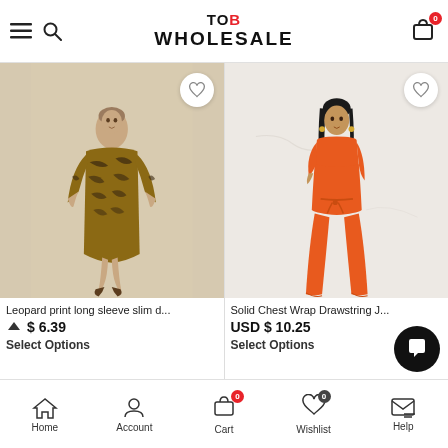TOB WHOLESALE
[Figure (photo): Fashion model wearing a leopard/tiger print long sleeve slim fit dress with strappy heels, on white background]
[Figure (photo): Fashion model wearing a solid orange chest wrap drawstring jumpsuit, on marble background]
Leopard print long sleeve slim d...
$ 6.39
Select Options
Solid Chest Wrap Drawstring J...
USD $ 10.25
Select Options
Home  Account  Cart  Wishlist  Help